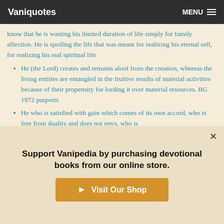Vaniquotes | MENU
know that he is wasting his limited duration of life simply for family affection. He is spoiling the life that was meant for realizing his eternal self, for realizing his real spiritual life
He (the Lord) creates and remains aloof from the creation, whereas the living entities are entangled in the fruitive results of material activities because of their propensity for lording it over material resources. BG 1972 purports
He who is satisfied with gain which comes of its own accord, who is free from duality and does not envy, who is steadfast in both success and failure, is never entangled, although he performs actions.
Support Vanipedia by purchasing devotional books from our online store.